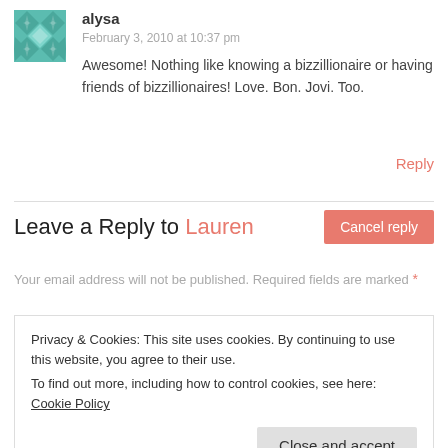[Figure (illustration): Teal/green geometric quilt-pattern avatar icon]
alysa
February 3, 2010 at 10:37 pm
Awesome! Nothing like knowing a bizzillionaire or having friends of bizzillionaires! Love. Bon. Jovi. Too.
Reply
Leave a Reply to Lauren
Cancel reply
Your email address will not be published. Required fields are marked *
Privacy & Cookies: This site uses cookies. By continuing to use this website, you agree to their use.
To find out more, including how to control cookies, see here: Cookie Policy
Close and accept